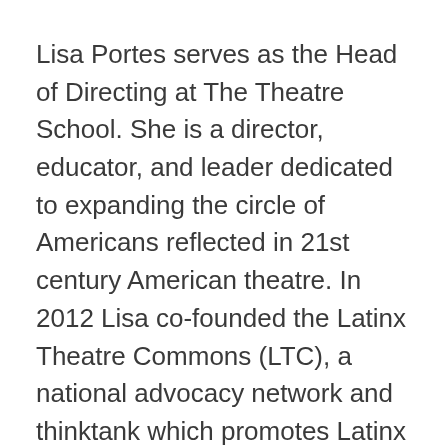Lisa Portes serves as the Head of Directing at The Theatre School. She is a director, educator, and leader dedicated to expanding the circle of Americans reflected in 21st century American theatre. In 2012 Lisa co-founded the Latinx Theatre Commons (LTC), a national advocacy network and thinktank which promotes Latinx theatre as central to the American theatre. She serves as artistic producer of the tri-annual LTC Carnaval, a festival of new Latinx plays hosted by The Theatre School at DePaul University. She currently serves on the board of the Theatre Communications Group (TCG) and the executive board of the Society of Stage